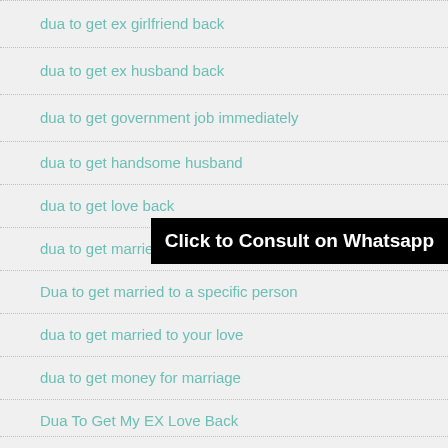dua to get ex girlfriend back
dua to get ex husband back
dua to get government job immediately
dua to get handsome husband
dua to get love back
dua to get married soon
Dua to get married to a specific person
dua to get married to your love
dua to get money for marriage
Dua To Get My EX Love Back